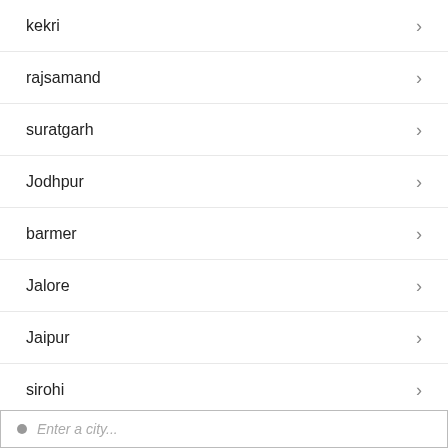kekri
rajsamand
suratgarh
Jodhpur
barmer
Jalore
Jaipur
sirohi